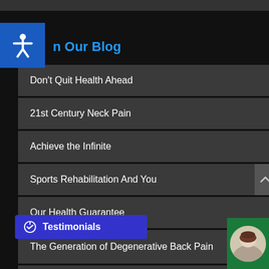From Our Blog
Don't Quit Health Ahead
21st Century Neck Pain
Achieve the Infinite
Sports Rehabilitation And You
Our Health Guarantee
The Generation of Degenerative Back Pain
A Drop of Nectar On Nutrition
Testimonials